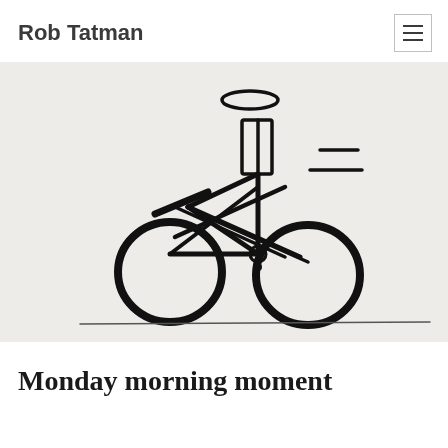Rob Tatman
[Figure (illustration): Hand-drawn sketch illustration of a person riding a bicycle at speed, with motion lines on the right side suggesting fast movement. The rider has a halo above their head and sits upright on the bike. A ground line runs beneath the bicycle. Drawn in black ink on a light beige/cream background.]
Monday morning moment